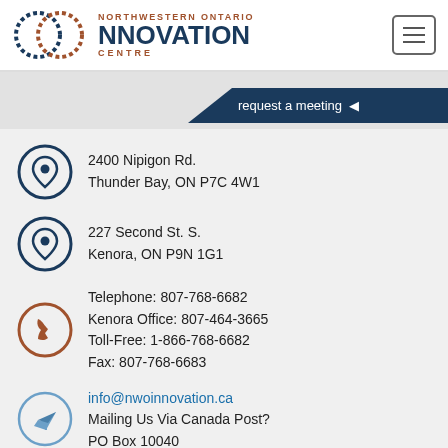[Figure (logo): Northwestern Ontario Innovation Centre logo with two interlocking circles made of dashed dots (blue and red/brown), with text NORTHWESTERN ONTARIO INNOVATION CENTRE]
request a meeting ◄
2400 Nipigon Rd.
Thunder Bay, ON P7C 4W1
227 Second St. S.
Kenora, ON P9N 1G1
Telephone: 807-768-6682
Kenora Office: 807-464-3665
Toll-Free: 1-866-768-6682
Fax: 807-768-6683
info@nwoinnovation.ca
Mailing Us Via Canada Post?
PO Box 10040
Thunder Bay, ON